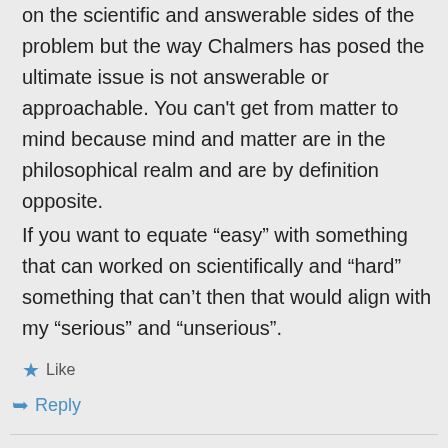on the scientific and answerable sides of the problem but the way Chalmers has posed the ultimate issue is not answerable or approachable. You can’t get from matter to mind because mind and matter are in the philosophical realm and are by definition opposite.
If you want to equate “easy” with something that can worked on scientifically and “hard” something that can’t then that would align with my “serious” and “unserious”.
★ Like
➤ Reply